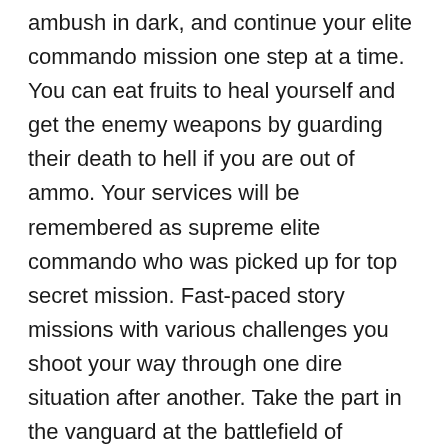ambush in dark, and continue your elite commando mission one step at a time. You can eat fruits to heal yourself and get the enemy weapons by guarding their death to hell if you are out of ammo. Your services will be remembered as supreme elite commando who was picked up for top secret mission. Fast-paced story missions with various challenges you shoot your way through one dire situation after another. Take the part in the vanguard at the battlefield of Modern Strike. An over-the-top shooter in every sense. With access to an inventory of sniper rifles and assault rifles, you will rely on your marksman skills to finish the work. Thrilling Action at its peak. You must be identify the enemy location, and eliminate silently all the enemies in elite commando special Ops. As a good shooting game for game lovers. Many types of firearms the game, especially with a sniper rifle up full momentum, shooting guns in the game is very straightforward, shoot the enemy. Best sniper in the world to join us as we take aim at evil, wherever it hides. Prepare the